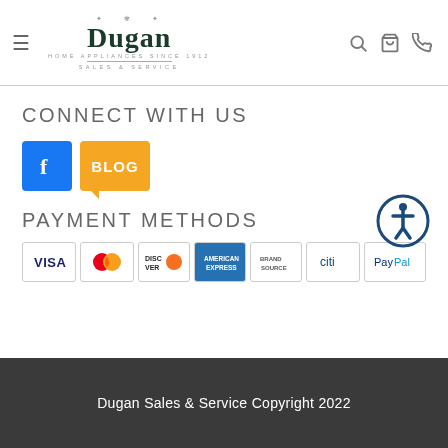[Figure (logo): Dugan Home Appliances Sales & Service logo with shamrock icon]
CONNECT WITH US
[Figure (infographic): Facebook icon (blue square with white F) and Blog icon (orange speech bubble with BLOG text)]
[Figure (infographic): Accessibility icon - blue circle with person symbol]
PAYMENT METHODS
[Figure (infographic): Payment method logos: Visa, MasterCard, Discover, American Express, Brand Source, Citi, PayPal]
Dugan Sales & Service Copyright 2022